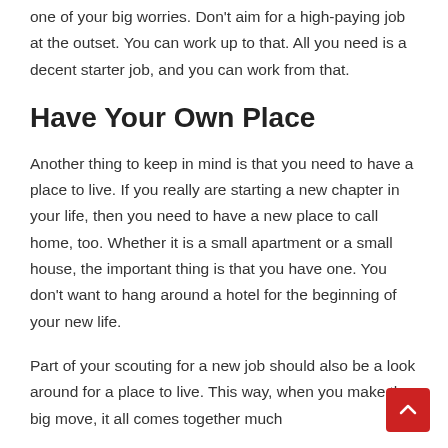one of your big worries. Don't aim for a high-paying job at the outset. You can work up to that. All you need is a decent starter job, and you can work from that.
Have Your Own Place
Another thing to keep in mind is that you need to have a place to live. If you really are starting a new chapter in your life, then you need to have a new place to call home, too. Whether it is a small apartment or a small house, the important thing is that you have one. You don't want to hang around a hotel for the beginning of your new life.
Part of your scouting for a new job should also be a look around for a place to live. This way, when you make the big move, it all comes together much